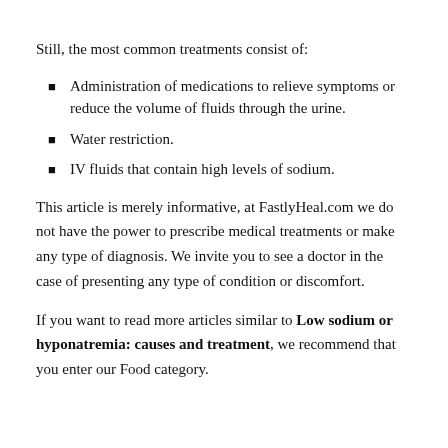Still, the most common treatments consist of:
Administration of medications to relieve symptoms or reduce the volume of fluids through the urine.
Water restriction.
IV fluids that contain high levels of sodium.
This article is merely informative, at FastlyHeal.com we do not have the power to prescribe medical treatments or make any type of diagnosis. We invite you to see a doctor in the case of presenting any type of condition or discomfort.
If you want to read more articles similar to Low sodium or hyponatremia: causes and treatment, we recommend that you enter our Food category.